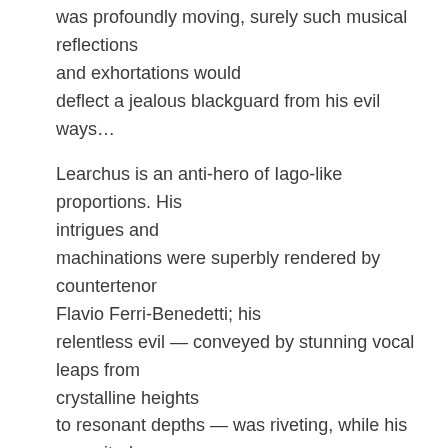was profoundly moving, surely such musical reflections and exhortations would deflect a jealous blackguard from his evil ways…
Learchus is an anti-hero of Iago-like proportions. His intrigues and machinations were superbly rendered by countertenor Flavio Ferri-Benedetti; his relentless evil — conveyed by stunning vocal leaps from crystalline heights to resonant depths — was riveting, while his conceited pouting and strutting, embellished with tightly pulsating trills, entertained. The final scene in which Learchus, mid-way through his assassination-abduction mission, recognises his own erroneousness and imprudence and stabs himself in self-chastising remorse, was gripping. (Ferri-Benedetti is clearly the man